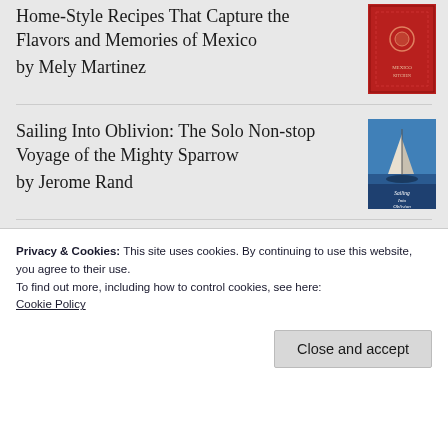Home-Style Recipes That Capture the Flavors and Memories of Mexico by Mely Martinez
[Figure (illustration): Book cover - red cover with decorative design]
Sailing Into Oblivion: The Solo Non-stop Voyage of the Mighty Sparrow by Jerome Rand
[Figure (illustration): Book cover - blue sailing cover showing a sailboat]
Eastward to Tartary: Travels in the Balkans, the Middle East, and the
[Figure (illustration): Book cover - beige/cream colored cover]
Privacy & Cookies: This site uses cookies. By continuing to use this website, you agree to their use.
To find out more, including how to control cookies, see here:
Cookie Policy
Close and accept
by William Manchester